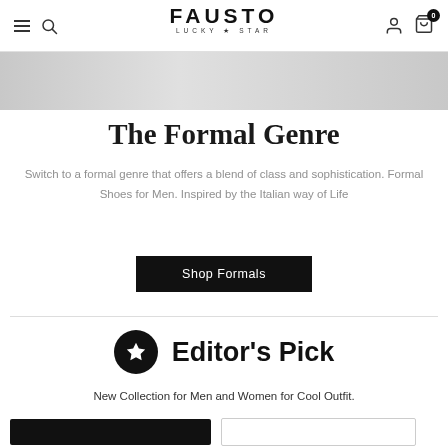FAUSTO LUCKY★STAR — Navigation bar with hamburger, search, logo, account, and cart icons
[Figure (photo): Hero banner image strip showing part of a product photo with grey background]
The Formal Genre
Switch to a formal genre that offers a blend of class and sophistication. Formal Shoes for Men. Inspired by the Italian way of Life
Shop Formals
Editor's Pick
New Collection for Men and Women for Cool Outfit.